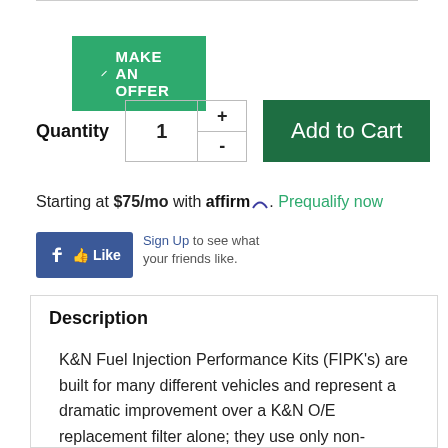[Figure (screenshot): Make An Offer button (green background, pencil icon, white uppercase text)]
Quantity  1  +  -  Add to Cart
Starting at $75/mo with affirm. Prequalify now
[Figure (screenshot): Facebook Like button with Sign Up text and friends social proof]
Description
K&N Fuel Injection Performance Kits (FIPK's) are built for many different vehicles and represent a dramatic improvement over a K&N O/E replacement filter alone; they use only non-metallic rotationally molded tubes that